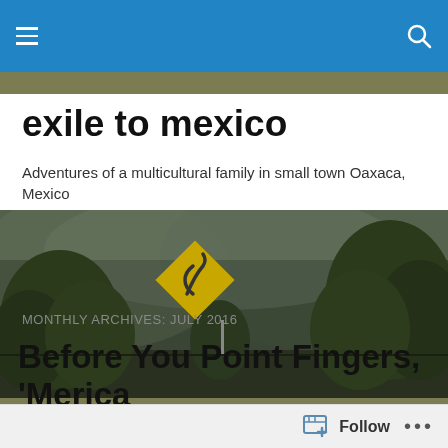exile to mexico — navigation bar with hamburger menu and search icon
exile to mexico
Adventures of a multicultural family in small town Oaxaca, Mexico
[Figure (photo): Outdoor road scene in Oaxaca Mexico with green trees, misty mountains in background, and a yellow diamond-shaped road warning sign showing winding road symbol]
MONTHLY ARCHIVES: JULY 2016
Before You Point Fingers, 'Merica
Follow  •••